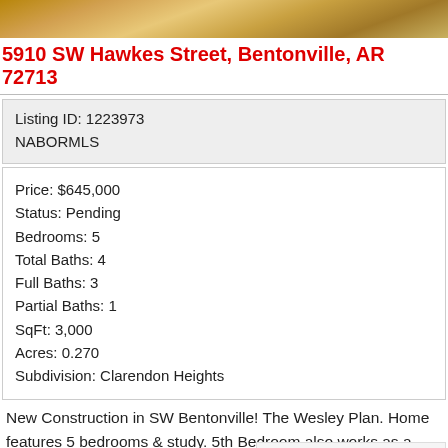[Figure (photo): Partial view of a house exterior or construction site, sandy/dirt ground visible]
5910 SW Hawkes Street, Bentonville, AR 72713
Listing ID: 1223973
NABORMLS
Price: $645,000
Status: Pending
Bedrooms: 5
Total Baths: 4
Full Baths: 3
Partial Baths: 1
SqFt: 3,000
Acres: 0.270
Subdivision: Clarendon Heights
New Construction in SW Bentonville! The Wesley Plan. Home features 5 bedrooms & study. 5th Bedroom also works as a great bonus / media room. Walking distance to Central Park Elementary School....
[Figure (logo): NABOR MLS logo with house icon and tagline]